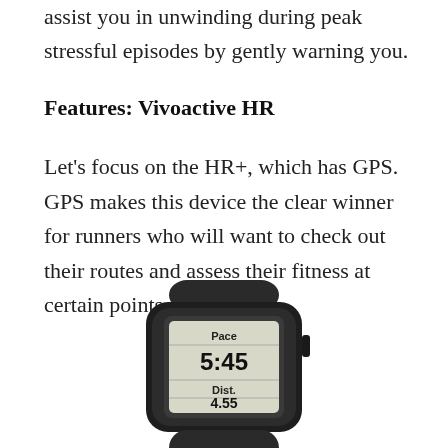assist you in unwinding during peak stressful episodes by gently warning you.
Features: Vivoactive HR
Let's focus on the HR+, which has GPS. GPS makes this device the clear winner for runners who will want to check out their routes and assess their fitness at certain points.
[Figure (photo): Garmin Vivoactive HR fitness tracker wristband in black, showing a screen displaying Pace 5:45 and Dist. 4.55]